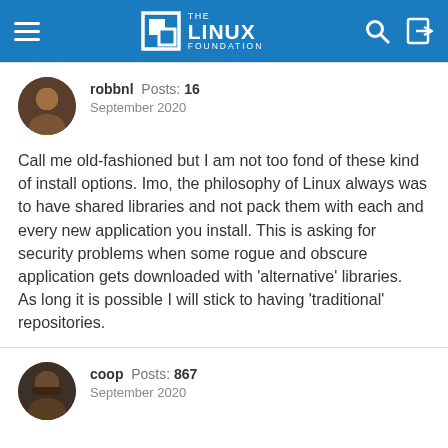The Linux Foundation
robbnl  Posts: 16
September 2020
Call me old-fashioned but I am not too fond of these kind of install options. Imo, the philosophy of Linux always was to have shared libraries and not pack them with each and every new application you install. This is asking for security problems when some rogue and obscure application gets downloaded with 'alternative' libraries.
As long it is possible I will stick to having 'traditional' repositories.
coop  Posts: 867
September 2020